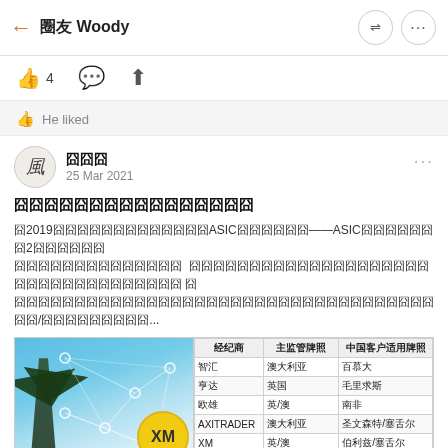← 圈友 Woody
👍 4  💬  ⬆
He liked
圈友名 25 Mar 2021
（Chinese text - post title about forex brokers）
（2019年 ... ASIC ... ——ASIC... 2... /...）
[Figure (photo): Network diagram overlay on sky with palm trees photo on left; table of forex brokers on right]
| 经纪商 | 主监管牌照 | 中国客户适用牌照 |
| --- | --- | --- |
| 智汇 | 澳大利亚 | 百慕大 |
| 亨达 | 英国 | 毛里求斯 |
| 欧雄 | 英/澳 | 南非 |
| AXITRADER | 澳大利亚 | 圣文森特/塞舌尔 |
| XM | 英/澳 | 伯利兹/塞舌尔 |
| EXNESS | 澳/塞浦路斯 | 圣文森特 |
| FBS | 欧盟/塞浦路斯 | 伯利兹 |
| ADS汇汇 | 英国 | 囧群岛 |